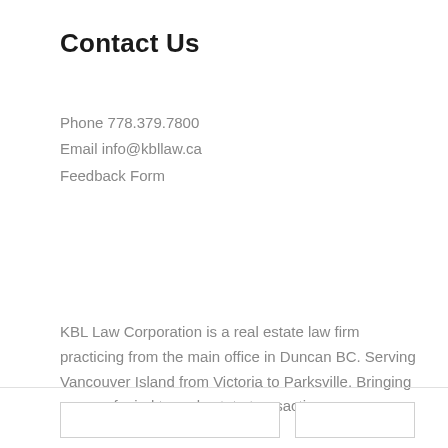Contact Us
Phone 778.379.7800
Email info@kbllaw.ca
Feedback Form
KBL Law Corporation is a real estate law firm practicing from the main office in Duncan BC. Serving Vancouver Island from Victoria to Parksville. Bringing peace of mind to real estate transactions.